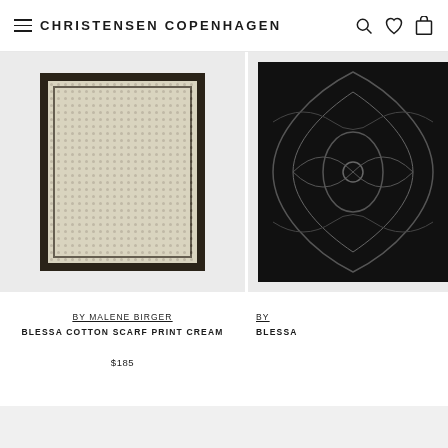CHRISTENSEN COPENHAGEN
[Figure (photo): Cream cotton scarf with checkered pattern and dark border, product photo on light gray background]
BY MALENE BIRGER
BLESSA COTTON SCARF PRINT CREAM
$185
[Figure (photo): Dark/black scarf with ornate floral pattern, partially visible product photo on light gray background]
BY
BLESSA